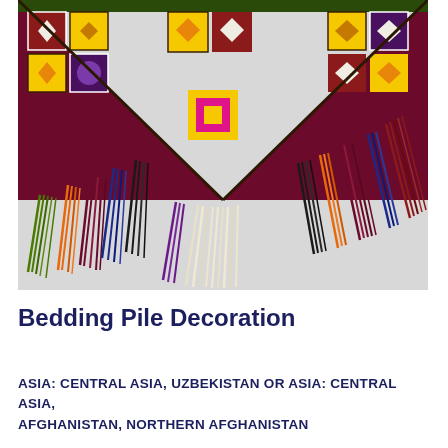[Figure (photo): A close-up photograph of a colorful Central Asian bedding pile decoration (toshak or similar textile) with a V-shaped lower edge and multicolored fringes hanging down. The textile features geometric patchwork patterns in rich colors including deep burgundy/maroon, yellow, orange, purple, blue, green, white, and pink. The fringes are long and multicolored, displayed against a light gray background.]
Bedding Pile Decoration
ASIA: CENTRAL ASIA, UZBEKISTAN OR ASIA: CENTRAL ASIA, AFGHANISTAN, NORTHERN AFGHANISTAN